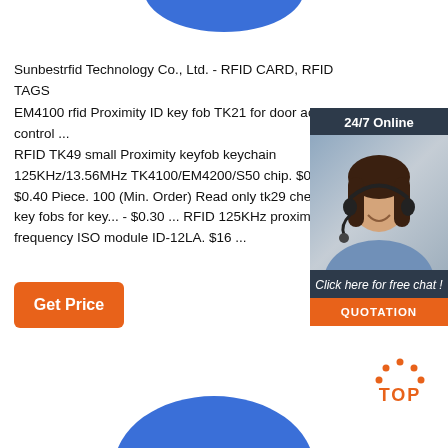[Figure (illustration): Blue oval/key fob shape cropped at top of page]
Sunbestrfid Technology Co., Ltd. - RFID CARD, RFID TAGS
EM4100 rfid Proximity ID key fob TK21 for door access control ...
RFID TK49 small Proximity keyfob keychain 125KHz/13.56MHz TK4100/EM4200/S50 chip. $0.15 - $0.40 Piece. 100 (Min. Order) Read only tk29 cheap plastic key fobs for key... - $0.30 ... RFID 125KHz proximity low frequency ISO module ID-12LA. $16 ...
[Figure (illustration): 24/7 Online chat widget with woman wearing headset, dark background, orange QUOTATION button]
[Figure (illustration): Orange Get Price button]
[Figure (logo): TOP back-to-top button with orange dots and text]
[Figure (illustration): Blue oval/key fob shape cropped at bottom of page]